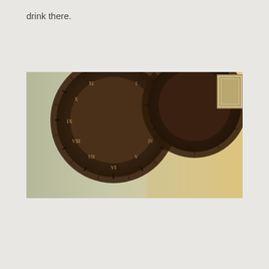drink there.
[Figure (photo): A photograph showing two large round wall clocks with dark brown/bronze ornate frames and Roman numerals, mounted on a beige/olive-colored wall. A framed picture is partially visible in the upper right corner. The image is shot from a low angle showing the clocks near the ceiling.]